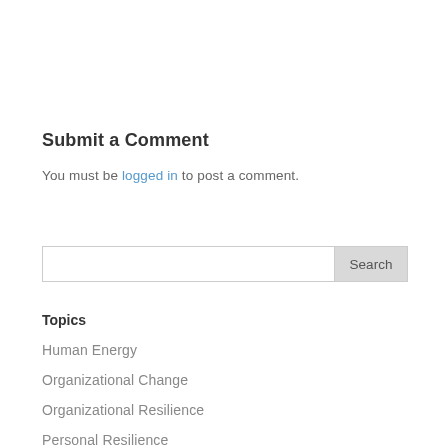Submit a Comment
You must be logged in to post a comment.
Search
Topics
Human Energy
Organizational Change
Organizational Resilience
Personal Resilience